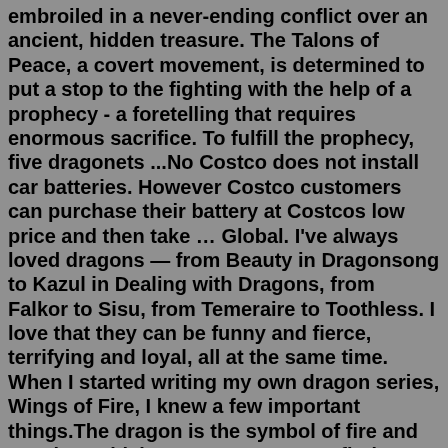embroiled in a never-ending conflict over an ancient, hidden treasure. The Talons of Peace, a covert movement, is determined to put a stop to the fighting with the help of a prophecy - a foretelling that requires enormous sacrifice. To fulfill the prophecy, five dragonets ...No Costco does not install car batteries. However Costco customers can purchase their battery at Costcos low price and then take … Global. I've always loved dragons — from Beauty in Dragonsong to Kazul in Dealing with Dragons, from Falkor to Sisu, from Temeraire to Toothless. I love that they can be funny and fierce, terrifying and loyal, all at the same time. When I started writing my own dragon series, Wings of Fire, I knew a few important things.The dragon is the symbol of fire and passion, which encourages you to find your passion in life and take risks to develop your strength and power. If a dragon shows up anywhere for you (in a dream ...Step 2: From the lowest point of the upward curve, draw wavy lines moving upward then downward as shown in the image for the wings. Step 3: Start drawing the